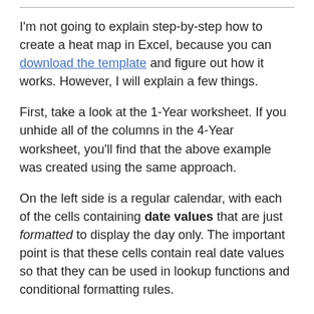I'm not going to explain step-by-step how to create a heat map in Excel, because you can download the template and figure out how it works. However, I will explain a few things.
First, take a look at the 1-Year worksheet. If you unhide all of the columns in the 4-Year worksheet, you'll find that the above example was created using the same approach.
On the left side is a regular calendar, with each of the cells containing date values that are just formatted to display the day only. The important point is that these cells contain real date values so that they can be used in lookup functions and conditional formatting rules.